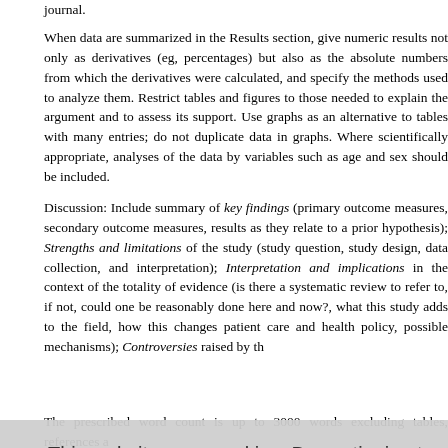journal.
When data are summarized in the Results section, give numeric results not only as derivatives (eg, percentages) but also as the absolute numbers from which the derivatives were calculated, and specify the methods used to analyze them. Restrict tables and figures to those needed to explain the argument and to assess its support. Use graphs as an alternative to tables with many entries; do not duplicate data in graphs. Where scientifically appropriate, analyses of the data by variables such as age and sex should be included.
Discussion: Include summary of key findings (primary outcome measures, secondary outcome measures, results as they relate to a prior hypothesis); Strengths and limitations of the study (study question, study design, data collection, and interpretation); Interpretation and implications in the context of the totality of evidence (is there a systematic review to refer to, if not, could one be reasonably done here and now?, what this study adds to the field, how this changes patient care and health policy, possible mechanisms); Controversies raised by this study; Future research directions.
The prescribed word count is up to 3000 words excluding tables, references a
This website uses cookies. By continuing to use this website you are giving consent to cookies being used. For information on cookies and how you can disable them visit our

Privacy and Cookie Policy.

AGREE & PROCEED